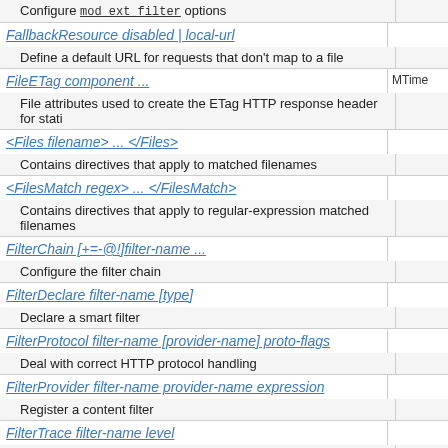| Directive | Default |
| --- | --- |
| Configure mod_ext_filter options |  |
| FallbackResource disabled | local-url |  |
| Define a default URL for requests that don't map to a file |  |
| FileETag component ... | MTime |
| File attributes used to create the ETag HTTP response header for stati |  |
| <Files filename> ... </Files> |  |
| Contains directives that apply to matched filenames |  |
| <FilesMatch regex> ... </FilesMatch> |  |
| Contains directives that apply to regular-expression matched filenames |  |
| FilterChain [+=-@!]filter-name ... |  |
| Configure the filter chain |  |
| FilterDeclare filter-name [type] |  |
| Declare a smart filter |  |
| FilterProtocol filter-name [provider-name] proto-flags |  |
| Deal with correct HTTP protocol handling |  |
| FilterProvider filter-name provider-name expression |  |
| Register a content filter |  |
| FilterTrace filter-name level |  |
| Get debug/diagnostic information from mod_filter |  |
| ForceLanguagePriority None|Prefer|Fallback [Prefer|Fallback] | Prefer |
| Action to take if a single acceptable document is not found |  |